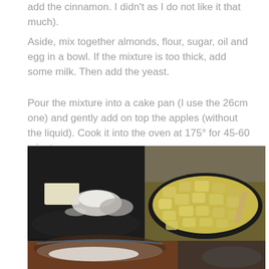add the cinnamon. I didn't as I do not like it that much).
Aside, mix together almonds, flour, sugar, oil and egg in a bowl. If the mixture is too thick, add some milk. Then add the yeast.
Pour the mixture into a cake pan (I use the 26cm one) and gently add on top the apples (without the liquid). Cook it into the oven at 175° for 45-60 minutes.
[Figure (photo): Two-panel cooking photo collage. Left panel: dark pan with butter block and flour/sugar ingredients. Right panel: round pan filled with chopped apple pieces. Bottom strip: glass bowl with flour mixture.]